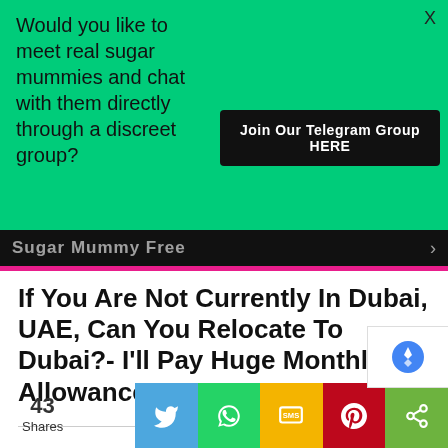[Figure (screenshot): Green advertisement banner with text asking about meeting sugar mummies, a 'Join Our Telegram Group HERE' button, and a close X button]
Would you like to meet real sugar mummies and chat with them directly through a discreet group?
Join Our Telegram Group HERE
Sugar Mummy Free
If You Are Not Currently In Dubai, UAE, Can You Relocate To Dubai?- I'll Pay Huge Monthly Allowance
43 Shares